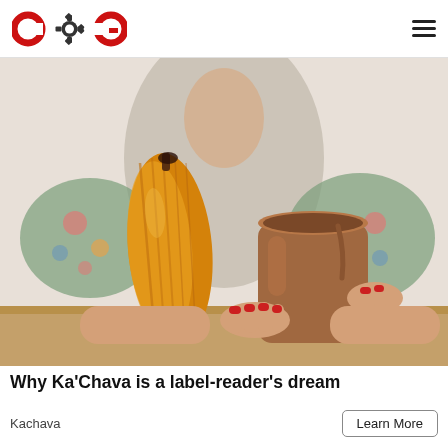COG logo and hamburger menu
[Figure (photo): Woman in floral dress holding a clay mug filled with chocolate drink, next to a golden cacao pod standing upright on a wooden table]
Why Ka'Chava is a label-reader's dream
Kachava
Learn More